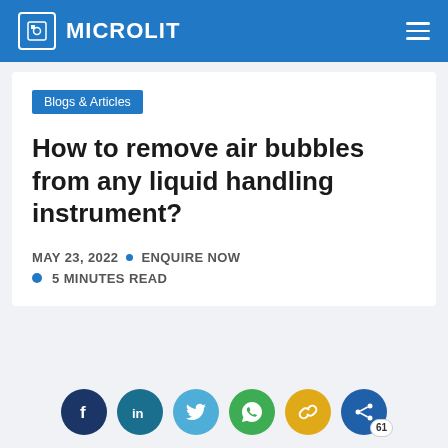MICROLIT
Blogs & Articles
How to remove air bubbles from any liquid handling instrument?
MAY 23, 2022 • ENQUIRE NOW
5 MINUTES READ
[Figure (other): Social sharing icons row: Facebook, LinkedIn, Twitter, WhatsApp, Link, Share (count: 61)]